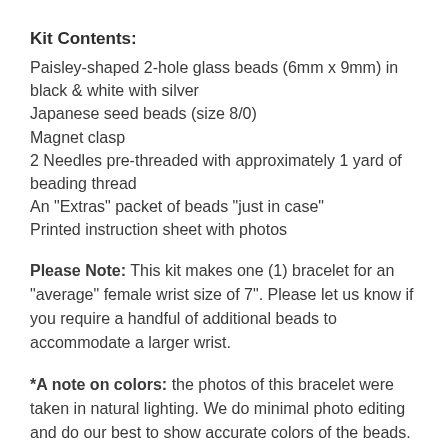Kit Contents:
Paisley-shaped 2-hole glass beads (6mm x 9mm) in black & white with silver
Japanese seed beads (size 8/0)
Magnet clasp
2 Needles pre-threaded with approximately 1 yard of beading thread
An "Extras" packet of beads "just in case"
Printed instruction sheet with photos
Please Note:  This kit makes one (1) bracelet for an "average" female wrist size of 7". Please let us know if you require a handful of additional beads to accommodate a larger wrist.
*A note on colors: the photos of this bracelet were taken in natural lighting. We do minimal photo editing and do our best to show accurate colors of the beads. Colors will